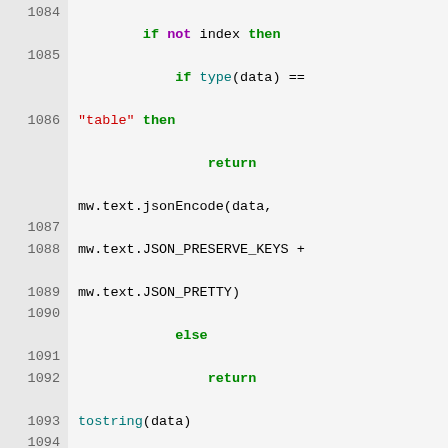Code listing lines 1084-1094 showing Lua/scripting code with syntax highlighting